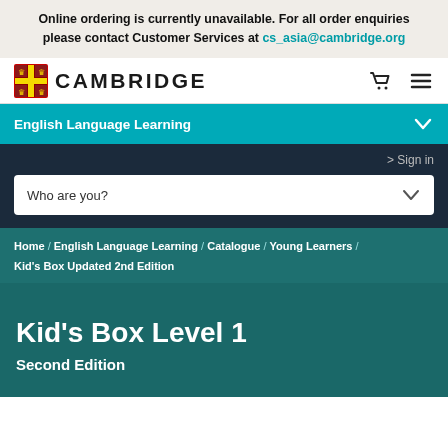Online ordering is currently unavailable. For all order enquiries please contact Customer Services at cs_asia@cambridge.org
[Figure (logo): Cambridge University Press shield logo and CAMBRIDGE wordmark]
English Language Learning
> Sign in
Who are you?
Home / English Language Learning / Catalogue / Young Learners / Kid's Box Updated 2nd Edition
Kid's Box Level 1
Second Edition